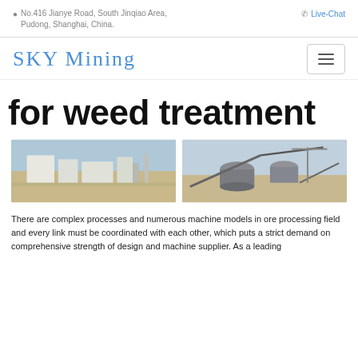No.416 Jianye Road, South Jinqiao Area, Pudong, Shanghai, China.   Live-Chat
SKY Mining
for weed treatment
[Figure (photo): Aerial view of an industrial ore processing facility in a desert/arid landscape with white buildings and equipment]
[Figure (photo): Close-up view of large industrial mining/ore processing machinery with cylindrical tanks and conveyors]
There are complex processes and numerous machine models in ore processing field and every link must be coordinated with each other, which puts a strict demand on comprehensive strength of design and machine supplier. As a leading